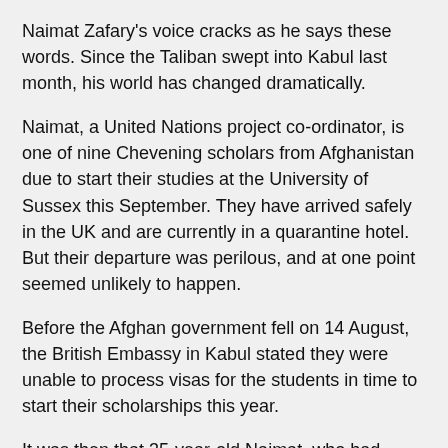Naimat Zafary’s voice cracks as he says these words. Since the Taliban swept into Kabul last month, his world has changed dramatically.
Naimat, a United Nations project co-ordinator, is one of nine Chevening scholars from Afghanistan due to start their studies at the University of Sussex this September. They have arrived safely in the UK and are currently in a quarantine hotel. But their departure was perilous, and at one point seemed unlikely to happen.
Before the Afghan government fell on 14 August, the British Embassy in Kabul stated they were unable to process visas for the students in time to start their scholarships this year.
It was then that 35-year-old Naimat, who had applied three times before for the scholarship until successfully being accepted, became the spokesperson for their cause.